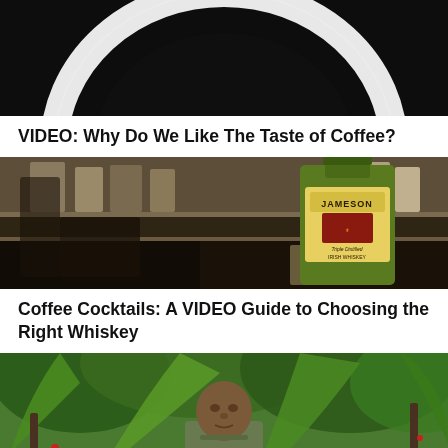[Figure (photo): Close-up top-down view of a white ceramic coffee cup filled with black coffee, against a dark background. Only the top arc of the cup rim is visible.]
VIDEO: Why Do We Like The Taste of Coffee?
[Figure (photo): A bottle of Jameson Irish Whiskey on a bar counter with shelves and bar supplies in the background.]
Coffee Cocktails: A VIDEO Guide to Choosing the Right Whiskey
[Figure (photo): A man standing outdoors among tropical banana and coffee plants, looking at the camera.]